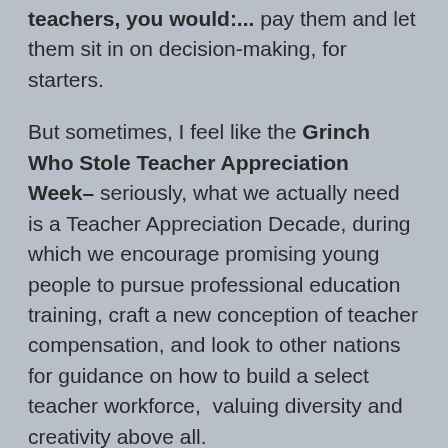teachers, you would:... pay them and let them sit in on decision-making, for starters.
But sometimes, I feel like the Grinch Who Stole Teacher Appreciation Week- seriously, what we actually need is a Teacher Appreciation Decade, during which we encourage promising young people to pursue professional education training, craft a new conception of teacher compensation, and look to other nations for guidance on how to build a select teacher workforce,  valuing diversity and creativity above all.
We just returned home from a couple of weeks away, and at the bottom of our mail tote was a TIME magazine with this cover:  'The Lost Year: How the pandemic changed a generation of students.' The article is much less inflammatory than that title—it's